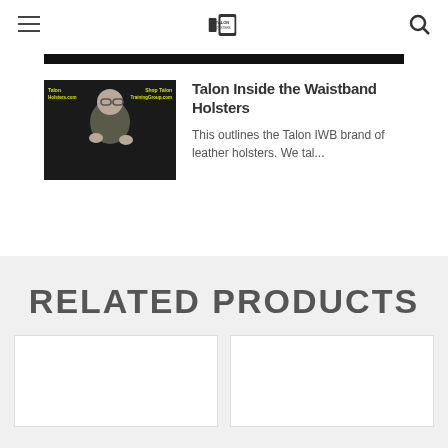Talon Holsters [logo] [hamburger menu] [search icon]
[Figure (screenshot): Black navigation bar strip across the top of the page content area]
[Figure (photo): Video thumbnail showing a bald man with glasses gesturing, with yellow text overlays: 'Talon Holsters.com' on left and 'Shop Talon TrainingGroup.com' on right, on a dark background]
Talon Inside the Waistband Holsters
This outlines the Talon IWB brand of leather holsters. We tal...
RELATED PRODUCTS
[Figure (photo): Product card image placeholder (white/light background)]
[Figure (photo): Product card image placeholder (white/light background)]